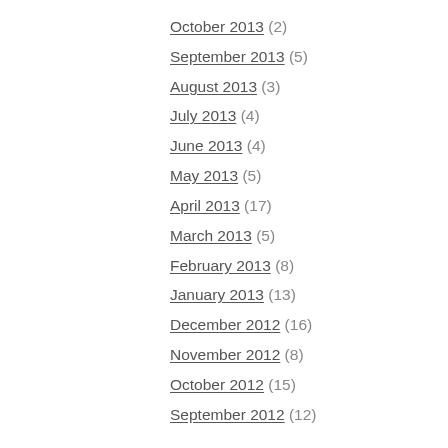October 2013 (2)
September 2013 (5)
August 2013 (3)
July 2013 (4)
June 2013 (4)
May 2013 (5)
April 2013 (17)
March 2013 (5)
February 2013 (8)
January 2013 (13)
December 2012 (16)
November 2012 (8)
October 2012 (15)
September 2012 (12)